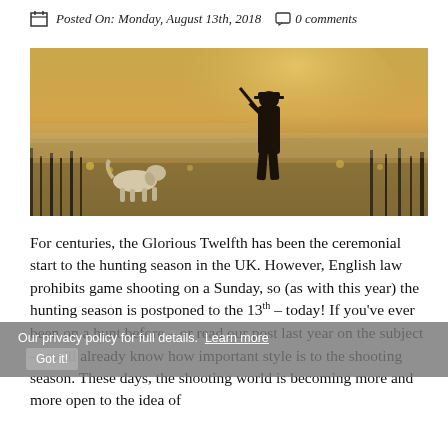Posted On: Monday, August 13th, 2018   0 comments
[Figure (photo): A silhouette of a hunter carrying a rifle over his shoulder walking through a misty golden field, with a hunting dog in the foreground]
For centuries, the Glorious Twelfth has been the ceremonial start to the hunting season in the UK. However, English law prohibits game shooting on a Sunday, so (as with this year) the hunting season is postponed to the 13th – today! If you've ever been on a hunt before – or read our post last year on the subject – you'll already know how important style is to the shooting season. These days, the shooting world is becoming more and more open to the idea of